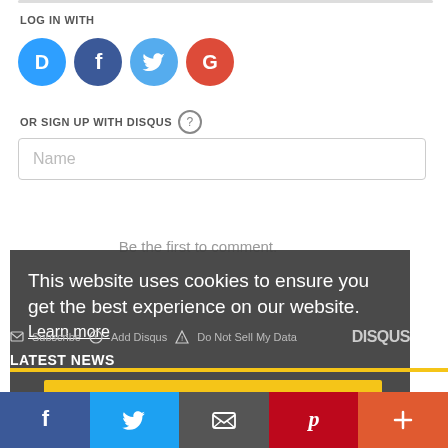LOG IN WITH
[Figure (illustration): Four circular social login icons: Disqus (blue, D), Facebook (dark blue, f), Twitter (light blue, bird), Google (red, G)]
OR SIGN UP WITH DISQUS ?
Name
Be the first to comment.
This website uses cookies to ensure you get the best experience on our website. Learn more
Subscribe  Add Disqus  Do Not Sell My Data   DISQUS
LATEST NEWS
Got it!
[Figure (illustration): Bottom share bar with five buttons: Facebook (blue), Twitter (light blue), Email (dark grey), Pinterest (red), More/Plus (orange-red)]